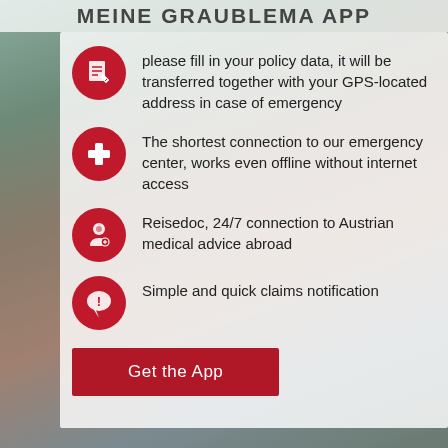MEINE GRAUBLEMA App
please fill in your policy data, it will be transferred together with your GPS-located address in case of emergency
The shortest connection to our emergency center, works even offline without internet access
Reisedoc, 24/7 connection to Austrian medical advice abroad
Simple and quick claims notification
Get the App